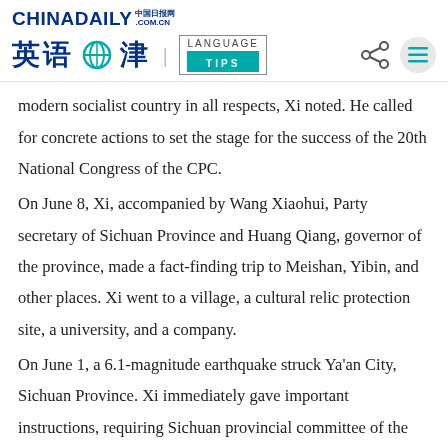[Figure (logo): China Daily logo with Chinese characters and LANGUAGE TIPS branding, share and menu icons]
modern socialist country in all respects, Xi noted. He called for concrete actions to set the stage for the success of the 20th National Congress of the CPC.
On June 8, Xi, accompanied by Wang Xiaohui, Party secretary of Sichuan Province and Huang Qiang, governor of the province, made a fact-finding trip to Meishan, Yibin, and other places. Xi went to a village, a cultural relic protection site, a university, and a company.
On June 1, a 6.1-magnitude earthquake struck Ya'an City, Sichuan Province. Xi immediately gave important instructions, requiring Sichuan provincial committee of the